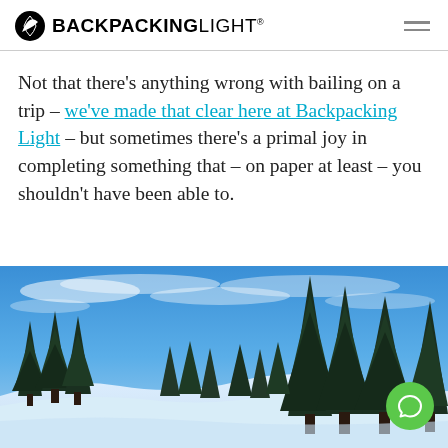BACKPACKINGLIGHT
Not that there’s anything wrong with bailing on a trip – we’ve made that clear here at Backpacking Light – but sometimes there’s a primal joy in completing something that – on paper at least – you shouldn’t have been able to.
[Figure (photo): Snowy mountain landscape with tall evergreen pine trees under a blue sky with wispy clouds; snow-covered terrain in the foreground.]